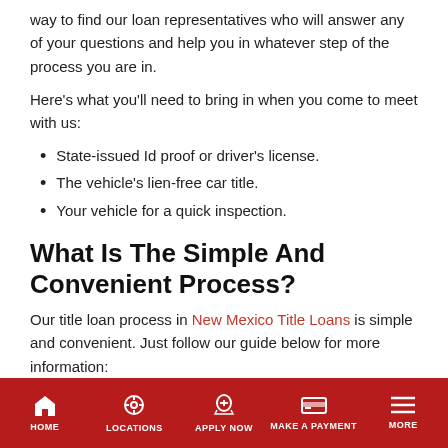way to find our loan representatives who will answer any of your questions and help you in whatever step of the process you are in.
Here's what you'll need to bring in when you come to meet with us:
State-issued Id proof or driver's license.
The vehicle's lien-free car title.
Your vehicle for a quick inspection.
What Is The Simple And Convenient Process?
Our title loan process in New Mexico Title Loans is simple and convenient. Just follow our guide below for more information:
You can either fill out a form online or give us a call over
HOME  LOCATIONS  APPLY NOW  MAKE A PAYMENT  MORE